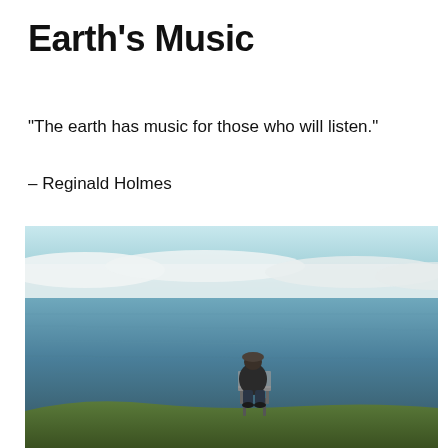Earth's Music
“The earth has music for those who will listen.”
– Reginald Holmes
[Figure (photo): A person sitting alone on a chair on a coastal cliff edge, viewed from behind, looking out over a vast dark blue ocean. White clouds stretch across the horizon. Green grass is visible in the lower foreground.]